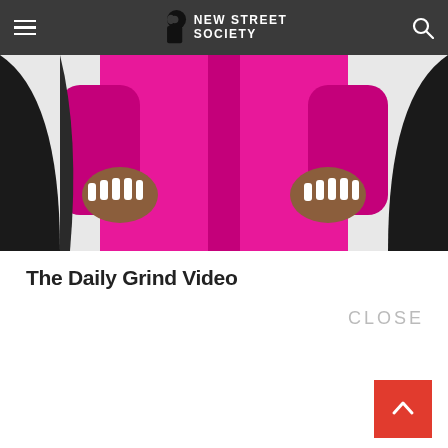NEW STREET SOCIETY
[Figure (photo): Person wearing a bright magenta/pink outfit, close-up showing torso and hands with long nails]
The Daily Grind Video
CLOSE